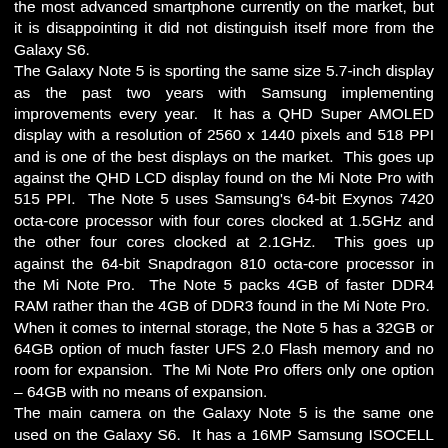the most advanced smartphone currently on the market, but it is disappointing it did not distinguish itself more from the Galaxy S6. The Galaxy Note 5 is sporting the same size 5.7-inch display as the past two years with Samsung implementing improvements every year. It has a QHD Super AMOLED display with a resolution of 2560 x 1440 pixels and 518 PPI and is one of the best displays on the market. This goes up against the QHD LCD display found on the Mi Note Pro with 515 PPI. The Note 5 uses Samsung's 64-bit Exynos 7420 octa-core processor with four cores clocked at 1.5GHz and the other four cores clocked at 2.1GHz. This goes up against the 64-bit Snapdragon 810 octa-core processor in the Mi Note Pro. The Note 5 packs 4GB of faster DDR4 RAM rather than the 4GB of DDR3 found in the Mi Note Pro. When it comes to internal storage, the Note 5 has a 32GB or 64GB option of much faster UFS 2.0 Flash memory and no room for expansion. The Mi Note Pro offers only one option – 64GB with no means of expansion. The main camera on the Galaxy Note 5 is the same one used on the Galaxy S6. It has a 16MP Samsung ISOCELL sensor with a fast startup, faster focus, larger aperture at